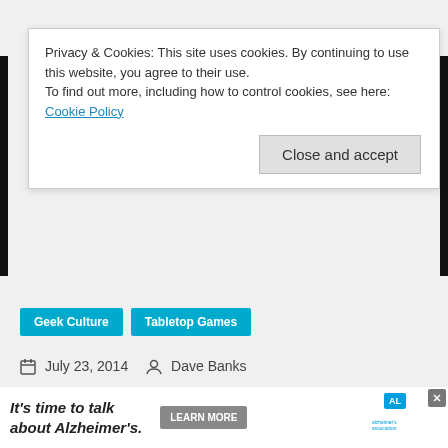Privacy & Cookies: This site uses cookies. By continuing to use this website, you agree to their use.
To find out more, including how to control cookies, see here: Cookie Policy
Close and accept
Geek Culture
Tabletop Games
July 23, 2014   Dave Banks
[Figure (illustration): Regular Show Fluxx card game artwork showing animated characters playing cards against a dark background]
It's time to talk about Alzheimer's.   LEARN MORE   alzheimer's association